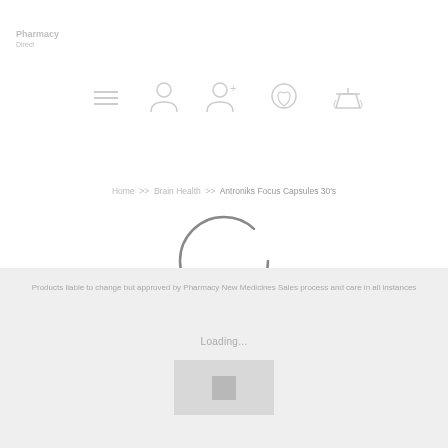[Figure (logo): Pharmacy Direct logo in light gray at top left]
[Figure (infographic): Navigation icon bar with menu, user, profile, gift/reward, and bag icons in light gray]
Home >> Brain Health >> Antroniks Focus Capsules 30's
[Figure (infographic): Loading spinner (circular arc) in the center of the page]
Products liable to change but approved by Pharmacy New Medicines Sales process and care in all instances
Loading...
[Figure (photo): Gray placeholder image box with darker gray inner square]